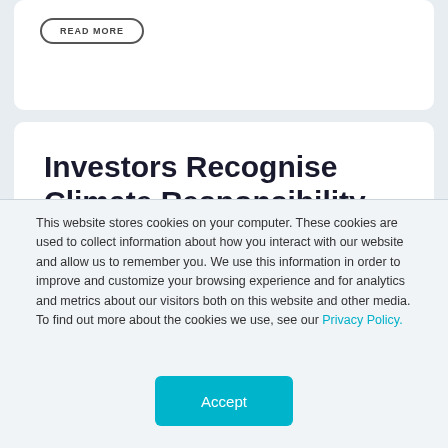[Figure (other): Partial top white card with a 'READ MORE' rounded button, cropped at the top of the page]
Investors Recognise Climate Responsibility but Ambivalence to Act Remains
This website stores cookies on your computer. These cookies are used to collect information about how you interact with our website and allow us to remember you. We use this information in order to improve and customize your browsing experience and for analytics and metrics about our visitors both on this website and other media. To find out more about the cookies we use, see our Privacy Policy.